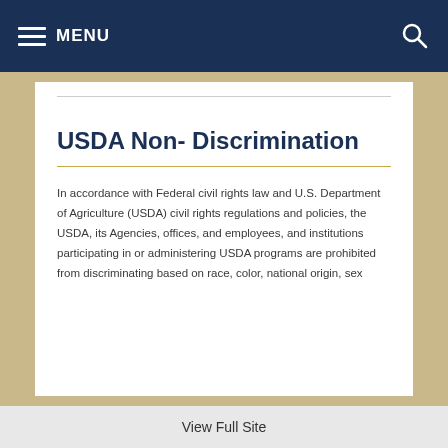MENU
USDA Non- Discrimination
In accordance with Federal civil rights law and U.S. Department of Agriculture (USDA) civil rights regulations and policies, the USDA, its Agencies, offices, and employees, and institutions participating in or administering USDA programs are prohibited from discriminating based on race, color, national origin, sex
View Full Site